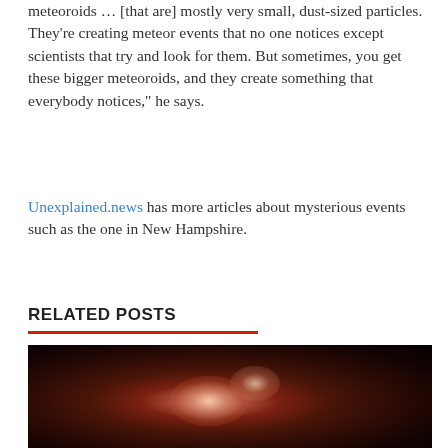meteoroids … [that are] mostly very small, dust-sized particles. They're creating meteor events that no one notices except scientists that try and look for them. But sometimes, you get these bigger meteoroids, and they create something that everybody notices," he says.
Unexplained.news has more articles about mysterious events such as the one in New Hampshire.
RELATED POSTS
[Figure (photo): Dark astronomical or space-related photograph showing a glowing reddish-pink nebula or cosmic event against a very dark background]